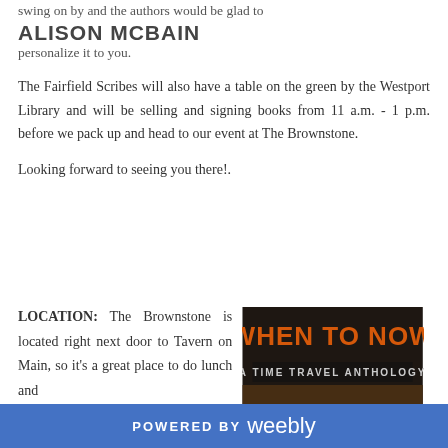swing on by and the authors would be glad to personalize it to you.
ALISON MCBAIN
The Fairfield Scribes will also have a table on the green by the Westport Library and will be selling and signing books from 11 a.m. - 1 p.m. before we pack up and head to our event at The Brownstone.
Looking forward to seeing you there!.
LOCATION: The Brownstone is located right next door to Tavern on Main, so it's a great place to do lunch and
[Figure (illustration): Book cover for 'When To Now: A Time Travel Anthology' featuring stories by Cynthia C. Scott, Edward Ahern, with dark orange/brown title text on a dark background]
POWERED BY weebly